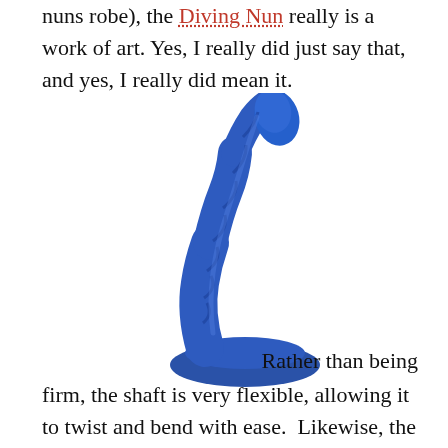nuns robe), the Diving Nun really is a work of art. Yes, I really did just say that, and yes, I really did mean it.
[Figure (photo): Blue silicone adult toy standing upright on a suction cup base, twisted shaft curving forward, photographed on white background]
Rather than being firm, the shaft is very flexible, allowing it to twist and bend with ease. Likewise, the silicone is soft, supple and squishy with a bit of give, all of which lend themselves well to making the experience not only comfortable, but